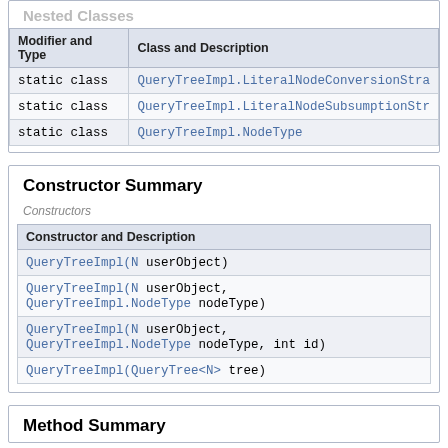| Modifier and Type | Class and Description |
| --- | --- |
| static class | QueryTreeImpl.LiteralNodeConversionStra... |
| static class | QueryTreeImpl.LiteralNodeSubsumptionStr... |
| static class | QueryTreeImpl.NodeType |
Constructor Summary
| Constructor and Description |
| --- |
| QueryTreeImpl(N userObject) |
| QueryTreeImpl(N userObject,
QueryTreeImpl.NodeType nodeType) |
| QueryTreeImpl(N userObject,
QueryTreeImpl.NodeType nodeType, int id) |
| QueryTreeImpl(QueryTree<N> tree) |
Method Summary